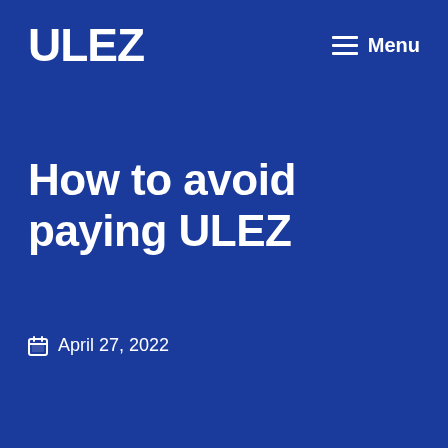ULEZ
Menu
How to avoid paying ULEZ
April 27, 2022